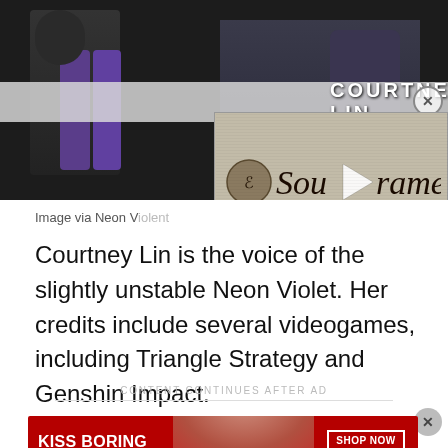[Figure (screenshot): Top portion showing dark background image with purple boots/figure, overlaid with 'COURTNEY LIN' header bar and a SoulFrame video thumbnail overlay with play button]
Image via Neon V[iolent]
Courtney Lin is the voice of the slightly unstable Neon Violet. Her credits include several videogames, including Triangle Strategy and Genshin Impact.
CONTENT CONTINUES AFTER AD
[Figure (screenshot): Macy's advertisement banner with red background, text 'KISS BORING LIPS GOODBYE', center photo of model with red lips, 'SHOP NOW' button and Macy's star logo]